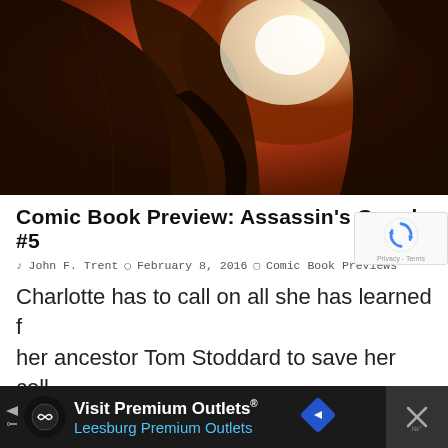[Figure (illustration): Dark fantasy/comic book style illustration showing a cloaked assassin figure in dark robes against an orange/warm glowing background with a bright light source behind them. The figure appears to be holding a weapon.]
Comic Book Preview: Assassin's Creed #5
& John F. Trent  © February 8, 2016  ☐ Comic Book Previews
Charlotte has to call on all she has learned from her ancestor Tom Stoddard to save her cell from decimation at the hands of Abstergo. In doing so, she learns more about herself, and more about the Brotherhood ...
[Figure (other): Advertisement banner: Visit Premium Outlets® / Leesburg Premium Outlets with logo and navigation arrow icons on dark background]